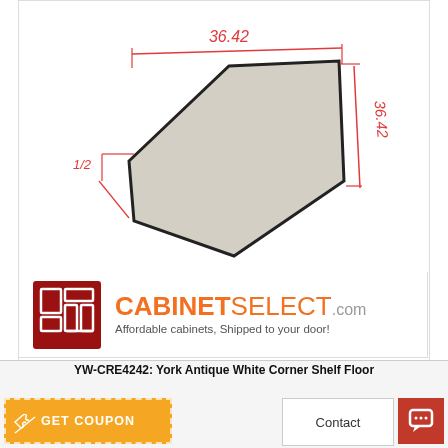[Figure (engineering-diagram): Technical schematic of a pentagon/angled shelf piece showing dimensions: 36.42 (top width), 36.42 (right side), and 1/2 (corner cut). The shape is shown in light grey/beige with a dark outline, annotated with red dimension lines and text.]
[Figure (logo): CabinetSelect.com logo with red square icon containing cabinet layout graphic, orange CABINETSELECT.com text, tagline: Affordable cabinets, Shipped to your door!]
YW-CRE4242: York Antique White Corner Shelf Floor
GET COUPON
Contact